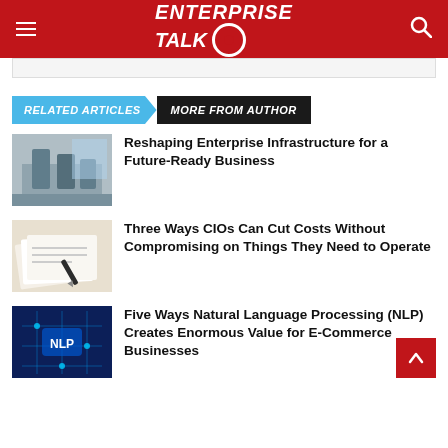ENTERPRISE TALK
RELATED ARTICLES | MORE FROM AUTHOR
Reshaping Enterprise Infrastructure for a Future-Ready Business
Three Ways CIOs Can Cut Costs Without Compromising on Things They Need to Operate
Five Ways Natural Language Processing (NLP) Creates Enormous Value for E-Commerce Businesses